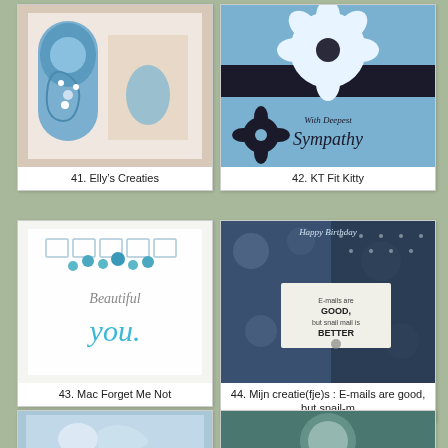[Figure (photo): Handmade craft card with blue decorative flowers and embellishments - Elly's Creaties]
41. Elly’s Creaties
[Figure (photo): Handmade sympathy card with black and blue flowers - KT Fit Kitty]
42. KT Fit Kitty
[Figure (photo): Handmade card reading 'Beautiful you' in teal lettering - Mac Forget Me Not]
43. Mac Forget Me Not
[Figure (photo): Handmade birthday card with snail mail message on blue floral background - Mijn creatie(fje)s]
44. Mijn creatie(fje)s : E-mails are good, but snail-m
[Figure (photo): Handmade blue floral card - partial view at bottom]
[Figure (photo): Handmade card with decorative circular motif - partial view at bottom]